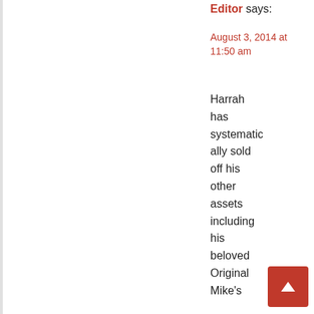Editor says:
August 3, 2014 at 11:50 am
Harrah has systematically sold off his other assets including his beloved Original Mike's